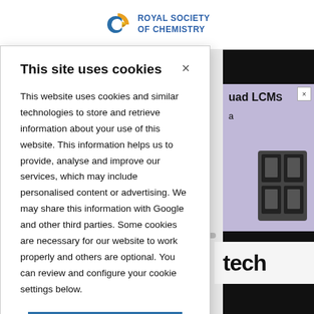ROYAL SOCIETY OF CHEMISTRY
This site uses cookies
This website uses cookies and similar technologies to store and retrieve information about your use of this website. This information helps us to provide, analyse and improve our services, which may include personalised content or advertising. We may share this information with Google and other third parties. Some cookies are necessary for our website to work properly and others are optional. You can review and configure your cookie settings below.
OK
COOKIE SETTINGS
[Figure (screenshot): Partial advertisement showing 'quad LCMS' text with equipment image on purple background]
tech